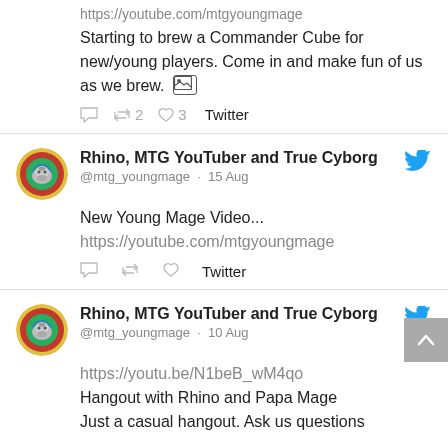https://youtube.com/mtgyoungmage
Starting to brew a Commander Cube for new/young players. Come in and make fun of us as we brew. [image]
retweet 2  like 3  Twitter
Rhino, MTG YouTuber and True Cyborg
@mtg_youngmage · 15 Aug
New Young Mage Video...
https://youtube.com/mtgyoungmage
Twitter
Rhino, MTG YouTuber and True Cyborg
@mtg_youngmage · 10 Aug
https://youtu.be/N1beB_wM4qo
Hangout with Rhino and Papa Mage
Just a casual hangout. Ask us questions